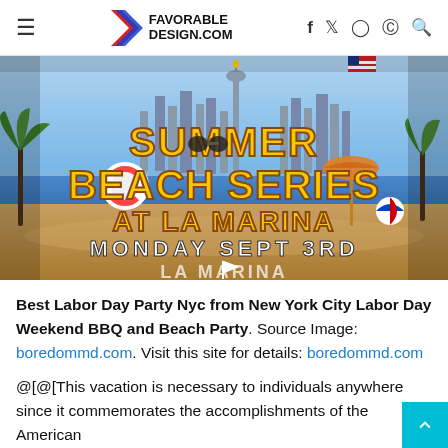FAVORABLE DESIGN.COM — navigation bar with hamburger menu and social icons (f, twitter, instagram, pinterest, search)
[Figure (photo): Summer Beach Series at La Marina event poster featuring text 'SUMMER BEACH SERIES AT LA MARINA MONDAY SEPT 3RD' on a beach background with NYC skyline, Statue of Liberty, palm trees, beach umbrella, and life preserver. Colorful summer party promotional image.]
Best Labor Day Party Nyc from New York City Labor Day Weekend BBQ and Beach Party. Source Image: boredommd.com. Visit this site for details: boredommd.com
@[@[This vacation is necessary to individuals anywhere since it commemorates the accomplishments of the American